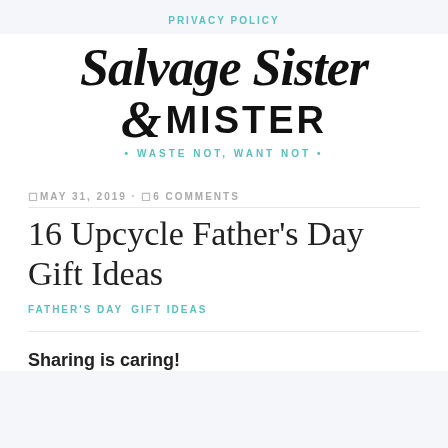PRIVACY POLICY
[Figure (logo): Salvage Sister & Mister logo with tagline 'WASTE NOT, WANT NOT']
MAY 31, 2019 · 6 COMMENTS
16 Upcycle Father's Day Gift Ideas
FATHER'S DAY  GIFT IDEAS
Sharing is caring!